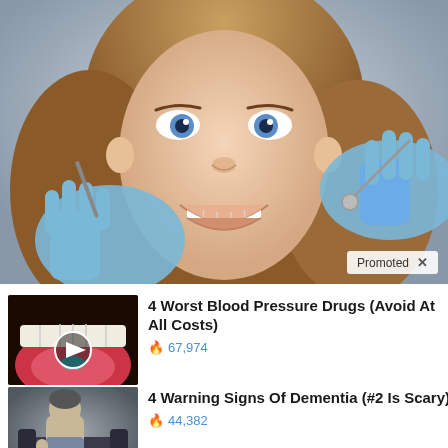[Figure (photo): Woman smiling at dental appointment, dental instruments being held at her mouth by gloved hands. Promoted ad with X button in bottom right corner.]
[Figure (photo): Close-up of open mouth with a pill on tongue, play button overlay. Thumbnail for article about blood pressure drugs.]
4 Worst Blood Pressure Drugs (Avoid At All Costs)
67,974
[Figure (photo): Elderly person sitting in a chair looking distressed. Thumbnail for article about dementia warning signs.]
4 Warning Signs Of Dementia (#2 Is Scary)
44,382